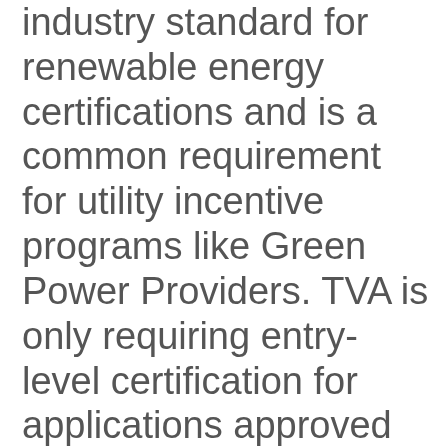industry standard for renewable energy certifications and is a common requirement for utility incentive programs like Green Power Providers. TVA is only requiring entry-level certification for applications approved by TVA beginning January 2013. Delaying this requirement until January 2013 gives the installer community a full three months to obtain the entry-